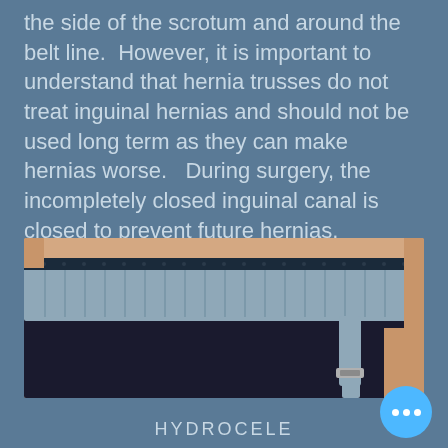the side of the scrotum and around the belt line.  However, it is important to understand that hernia trusses do not treat inguinal hernias and should not be used long term as they can make hernias worse.   During surgery, the incompletely closed inguinal canal is closed to prevent future hernias.
[Figure (photo): Photo of a person wearing a hernia truss/support belt around the waist and groin area. The device is gray with straps extending down.]
HYDROCELE